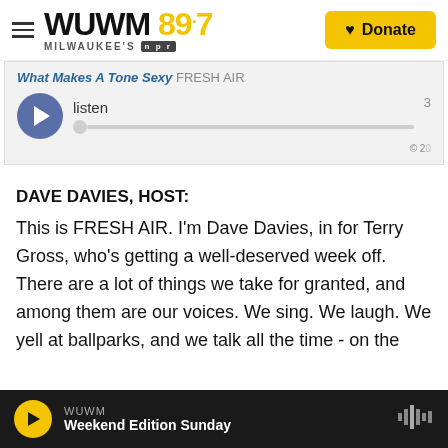WUWM 89.7 MILWAUKEE'S NPR | Donate
[Figure (screenshot): Audio player widget showing 'What Makes A Tone Sexy - Fresh Air' with play button, listen label, progress bar, and copyright notice]
DAVE DAVIES, HOST:
This is FRESH AIR. I'm Dave Davies, in for Terry Gross, who's getting a well-deserved week off. There are a lot of things we take for granted, and among them are our voices. We sing. We laugh. We yell at ballparks, and we talk all the time - on the
WUWM | Weekend Edition Sunday